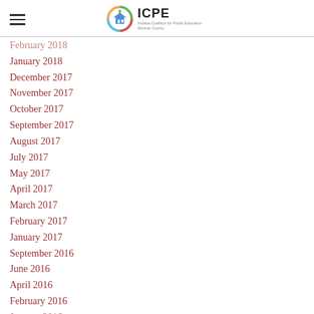ICPE — Indiana Coalition for Public Education Monroe County
February 2018
January 2018
December 2017
November 2017
October 2017
September 2017
August 2017
July 2017
May 2017
April 2017
March 2017
February 2017
January 2017
September 2016
June 2016
April 2016
February 2016
January 2016